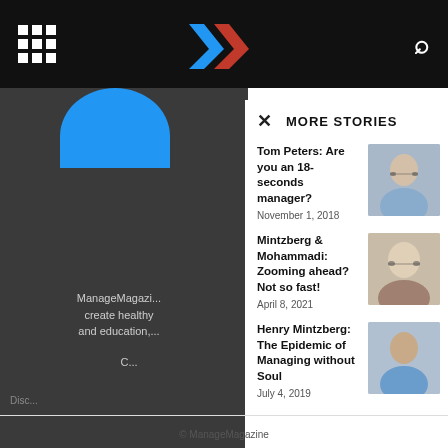MORE STORIES
Tom Peters: Are you an 18-seconds manager?
November 1, 2018
[Figure (photo): Photo of Tom Peters, older man with glasses and grey hair]
Mintzberg & Mohammadi: Zooming ahead? Not so fast!
April 8, 2021
[Figure (photo): Photo of Mintzberg, elderly man with glasses]
Henry Mintzberg: The Epidemic of Managing without Soul
July 4, 2019
[Figure (photo): Photo of Henry Mintzberg, Asian man smiling]
© ManageMagazine